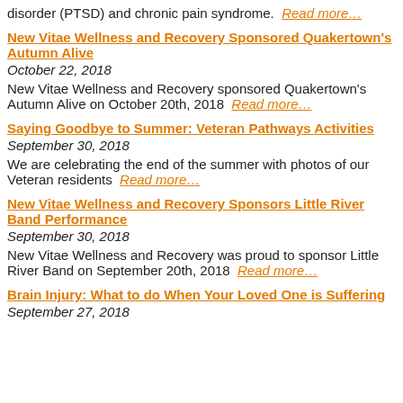disorder (PTSD) and chronic pain syndrome. Read more…
New Vitae Wellness and Recovery Sponsored Quakertown's Autumn Alive
October 22, 2018
New Vitae Wellness and Recovery sponsored Quakertown's Autumn Alive on October 20th, 2018 Read more…
Saying Goodbye to Summer: Veteran Pathways Activities
September 30, 2018
We are celebrating the end of the summer with photos of our Veteran residents Read more…
New Vitae Wellness and Recovery Sponsors Little River Band Performance
September 30, 2018
New Vitae Wellness and Recovery was proud to sponsor Little River Band on September 20th, 2018 Read more…
Brain Injury: What to do When Your Loved One is Suffering
September 27, 2018